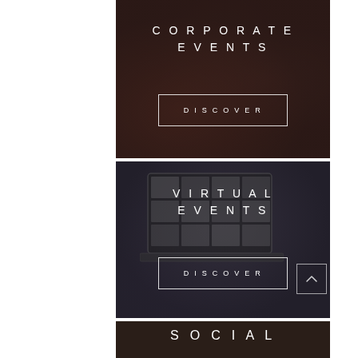[Figure (photo): Corporate events dark-themed banner with crowd background showing 'CORPORATE EVENTS' title and DISCOVER button]
[Figure (photo): Virtual events dark-themed banner with laptop video-call background showing 'VIRTUAL EVENTS' title and DISCOVER button, plus back-to-top arrow]
[Figure (photo): Partial third panel showing beginning of 'SOCIAL' heading on dark background]